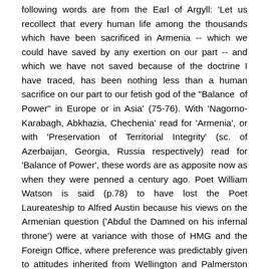following words are from the Earl of Argyll: 'Let us recollect that every human life among the thousands which have been sacrificed in Armenia -- which we could have saved by any exertion on our part -- and which we have not saved because of the doctrine I have traced, has been nothing less than a human sacrifice on our part to our fetish god of the "Balance of Power" in Europe or in Asia' (75-76). With 'Nagorno-Karabagh, Abkhazia, Chechenia' read for 'Armenia', or with 'Preservation of Territorial Integrity' (sc. of Azerbaijan, Georgia, Russia respectively) read for 'Balance of Power', these words are as apposite now as when they were penned a century ago. Poet William Watson is said (p.78) to have lost the Poet Laureateship to Alfred Austin because his views on the Armenian question ('Abdul the Damned on his infernal throne') were at variance with those of HMG and the Foreign Office, where preference was predictably given to attitudes inherited from Wellington and Palmerston (the failure of the latter to act could be argued to have led to